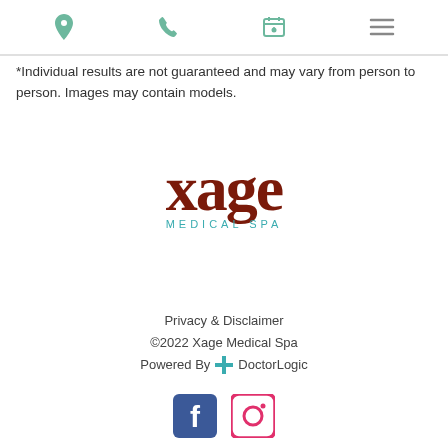Navigation icons: location, phone, calendar, menu
*Individual results are not guaranteed and may vary from person to person. Images may contain models.
[Figure (logo): Xage Medical Spa logo — stylized dark red 'xage' text with 'MEDICAL SPA' below in teal]
Privacy & Disclaimer ©2022 Xage Medical Spa Powered By DoctorLogic
[Figure (logo): Facebook and Instagram social media icons]